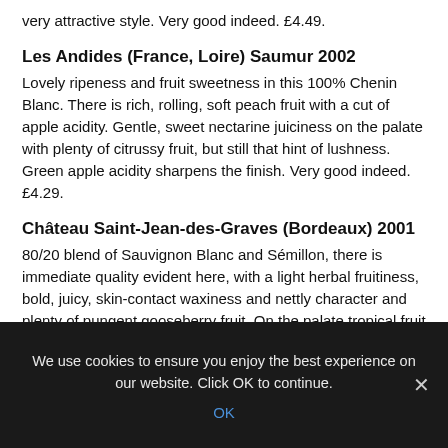very attractive style. Very good indeed. £4.49.
Les Andides (France, Loire) Saumur 2002
Lovely ripeness and fruit sweetness in this 100% Chenin Blanc. There is rich, rolling, soft peach fruit with a cut of apple acidity. Gentle, sweet nectarine juiciness on the palate with plenty of citrussy fruit, but still that hint of lushness. Green apple acidity sharpens the finish. Very good indeed. £4.29.
Château Saint-Jean-des-Graves (Bordeaux) 2001
80/20 blend of Sauvignon Blanc and Sémillon, there is immediate quality evident here, with a light herbal fruitiness, bold, juicy, skin-contact waxiness and nettly character and plenty of pungent gooseberry fruit. On the palate tropical fruit is backed up by a waxy lemon component. Long and pure, this is lovely stuff. Very good indeed. £5.69.
We use cookies to ensure you enjoy the best experience on our website. Click OK to continue.
OK